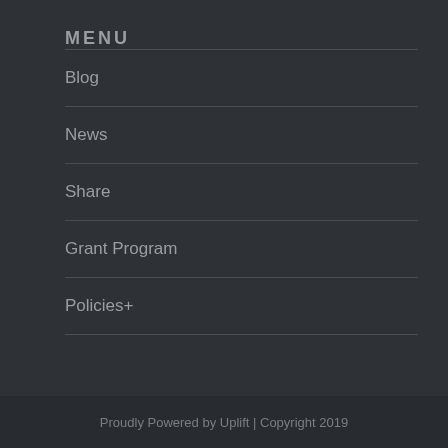MENU
Blog
News
Share
Grant Program
Policies+
Proudly Powered by Uplift | Copyright 2019